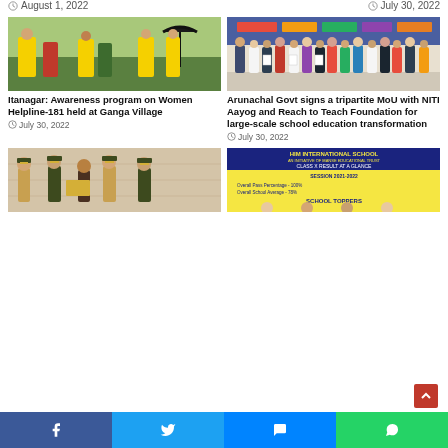August 1, 2022
July 30, 2022
[Figure (photo): People in yellow shirts conducting awareness program at Ganga Village]
Itanagar: Awareness program on Women Helpline-181 held at Ganga Village
July 30, 2022
[Figure (photo): Group of officials signing MoU with NITI Aayog and Reach to Teach Foundation]
Arunachal Govt signs a tripartite MoU with NITI Aayog and Reach to Teach Foundation for large-scale school education transformation
July 30, 2022
[Figure (photo): Police officers receiving award ceremony]
[Figure (photo): Him International School Class X Result at a Glance Session 2021-2022 poster]